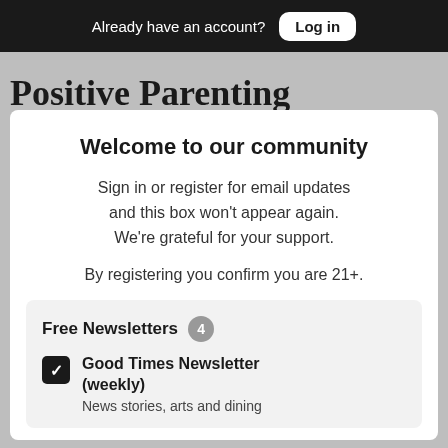Already have an account? Log in
Positive Parenting Awareness
✓ Close
to receive a gift bag and be
Welcome to our community
Sign in or register for email updates and this box won't appear again. We're grateful for your support.
By registering you confirm you are 21+.
Free Newsletters 4
Good Times Newsletter (weekly)
News stories, arts and dining